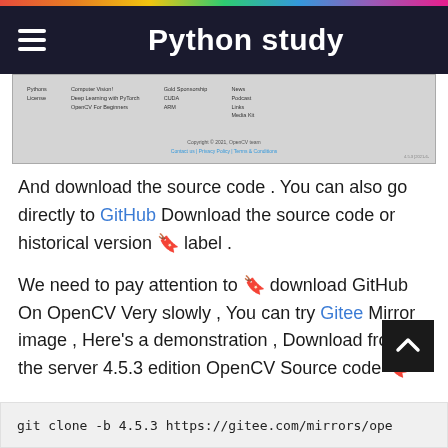Python study
[Figure (screenshot): Screenshot of OpenCV website footer showing navigation columns with Python, Computer Vision, links, and copyright notice]
And download the source code . You can also go directly to GitHub Download the source code or historical version 🔖 label .
We need to pay attention to 🔖 download GitHub On OpenCV Very slowly , You can try Gitee Mirror image , Here's a demonstration , Download from the server 4.5.3 edition OpenCV Source code 🔖
git clone -b 4.5.3 https://gitee.com/mirrors/ope